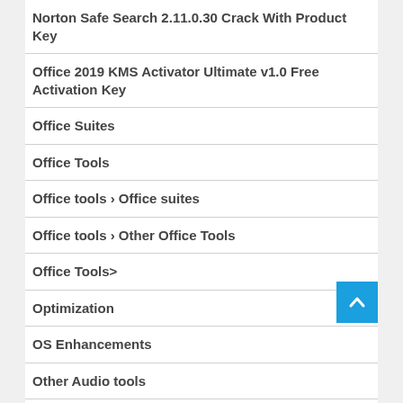Norton Safe Search 2.11.0.30 Crack With Product Key
Office 2019 KMS Activator Ultimate v1.0 Free Activation Key
Office Suites
Office Tools
Office tools › Office suites
Office tools › Other Office Tools
Office Tools>
Optimization
OS Enhancements
Other Audio tools
Other Desktop Enhancements